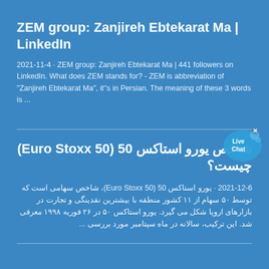ZEM group: Zanjireh Ebtekarat Ma | LinkedIn
2021-11-4 · ZEM group: Zanjireh Ebtekarat Ma | 441 followers on LinkedIn. What does ZEM stands for? - ZEM is abbreviation of "Zanjireh Ebtekarat Ma", it''s in Persian. The meaning of these 3 words is ...
[Figure (illustration): Live Chat bubble icon with chat balloon in blue tones and close X button]
شاخص یورو استاکس 50 (Euro Stoxx 50) چیست؟
2021-12-6 · یورو استاکس 50 (Euro Stoxx 50)، شاخص سهامی است که توسط ۵۰ سهام از ۱۱ کشور منطقه با بیشترین نقدینگی و تجارت در بازارهای اروپا شکل می گیرد. یورو استاکس ۵۰ در ۲۶ فوریه ۱۹۹۸ معرفی شد. این ترکیب، سالانه در ماه سپتامبر مورد بررسی ...